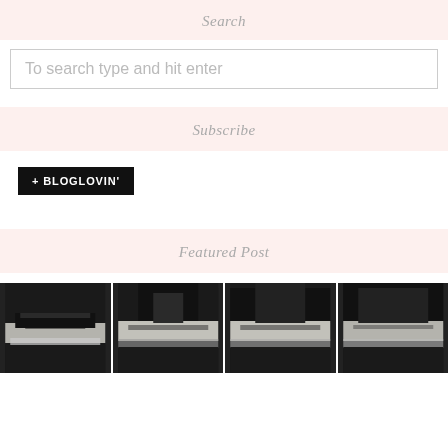Search
To search type and hit enter
Subscribe
[Figure (logo): Bloglovin follow button: black rectangle with white text '+ BLOGLOVIN'']
Featured Post
[Figure (photo): Four cropped photos of black and white sneakers/shoes arranged in a row, showing the lower portion of each shoe]